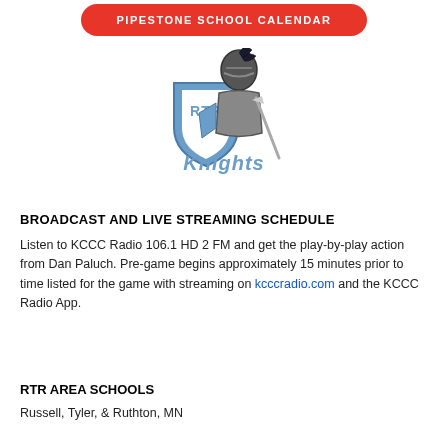PIPESTONE SCHOOL CALENDAR
[Figure (logo): RTR Knights logo with a medieval knight holding a sword and shield, text 'RTR Knights' in blue and gray]
BROADCAST AND LIVE STREAMING SCHEDULE
Listen to KCCC Radio 106.1 HD 2 FM and get the play-by-play action from Dan Paluch. Pre-game begins approximately 15 minutes prior to time listed for the game with streaming on kcccradio.com and the KCCC Radio App.
RTR AREA SCHOOLS
Russell, Tyler, & Ruthton, MN